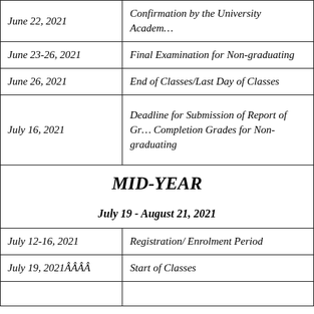| Date | Event |
| --- | --- |
| June 22, 2021 | Confirmation by the University Academic… |
| June 23-26, 2021 | Final Examination for Non-graduating |
| June 26, 2021 | End of Classes/Last Day of Classes |
| July 16, 2021 | Deadline for Submission of Report of Gr… Completion Grades for Non-graduating |
| MID-YEAR
July 19 - August 21, 2021 |  |
| July 12-16, 2021 | Registration/ Enrolment Period |
| July 19, 2021ÂÂÂÂ | Start of Classes |